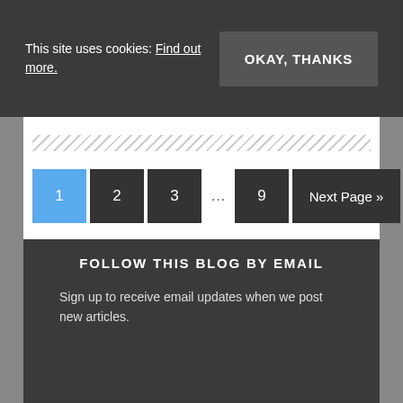This site uses cookies: Find out more.
OKAY, THANKS
1  2  3  …  9  Next Page »
FOLLOW THIS BLOG BY EMAIL
Sign up to receive email updates when we post new articles.